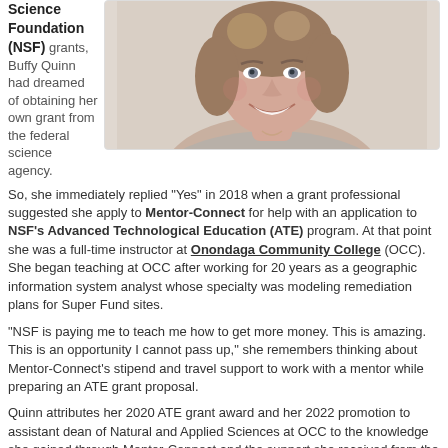Science Foundation (NSF) grants, Buffy Quinn had dreamed of obtaining her own grant from the federal science agency.
[Figure (photo): Headshot photo of Buffy Quinn, a woman with short layered brown-blonde hair, smiling, wearing a light gray top.]
So, she immediately replied “Yes” in 2018 when a grant professional suggested she apply to Mentor-Connect for help with an application to NSF’s Advanced Technological Education (ATE) program. At that point she was a full-time instructor at Onondaga Community College (OCC). She began teaching at OCC after working for 20 years as a geographic information system analyst whose specialty was modeling remediation plans for Super Fund sites.
“NSF is paying me to teach me how to get more money. This is amazing. This is an opportunity I cannot pass up,” she remembers thinking about Mentor-Connect’s stipend and travel support to work with a mentor while preparing an ATE grant proposal.
Quinn attributes her 2020 ATE grant award and her 2022 promotion to assistant dean of Natural and Applied Sciences at OCC to the knowledge she gained through Mentor-Connect and the support she received from the people Mentor-Connect introduced her to in the ATE community.